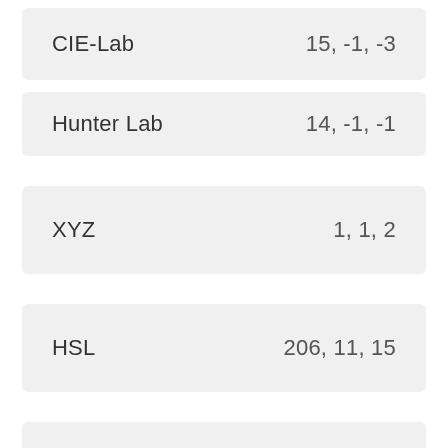| Color Space | Values |
| --- | --- |
| CIE-Lab | 15, -1, -3 |
| Hunter Lab | 14, -1, -1 |
| XYZ | 1, 1, 2 |
| HSL | 206, 11, 15 |
| HWB | 206, 3, 83 |
| HSV | 206, 20, 16 |